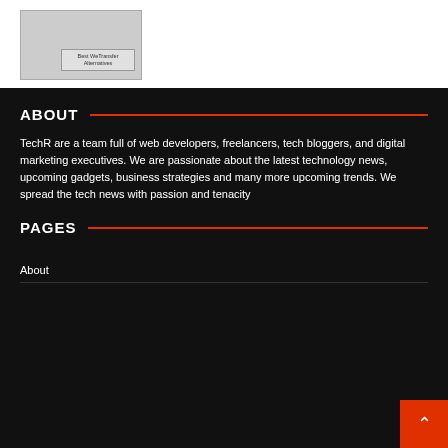[Figure (screenshot): Thumbnail image showing a webpage with text 'Best WeTransfer Alternatives']
ABOUT
TechR are a team full of web developers, freelancers, tech bloggers, and digital marketing executives. We are passionate about the latest technology news, upcoming gadgets, business strategies and many more upcoming trends. We spread the tech news with passion and tenacity
PAGES
About